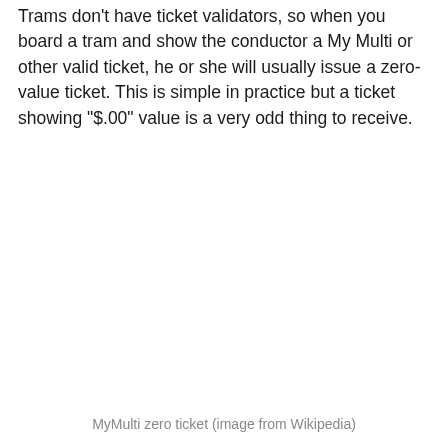Trams don't have ticket validators, so when you board a tram and show the conductor a My Multi or other valid ticket, he or she will usually issue a zero-value ticket. This is simple in practice but a ticket showing "$.00" value is a very odd thing to receive.
MyMulti zero ticket (image from Wikipedia)